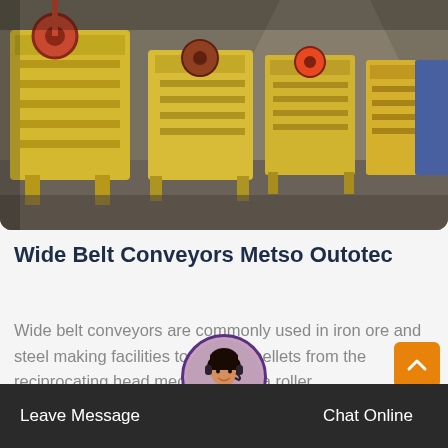[Figure (photo): Industrial yellow jaw crusher / conveyor machinery in a warehouse facility]
Wide Belt Conveyors Metso Outotec
Wide belt conveyors are commonly used in iron ore and steel making facilities to transfer pellets from the reciprocating head mechanism to a roller...
More Details
[Figure (photo): Customer service agent avatar photo in circular frame]
Leave Message  Chat Online